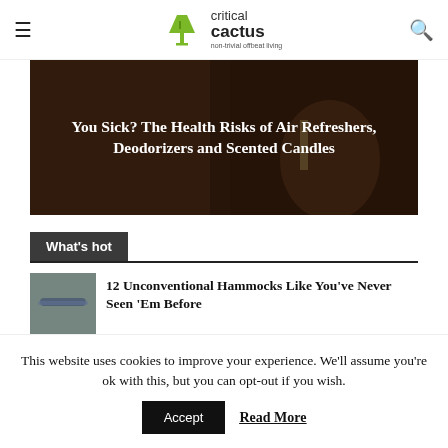critical cactus — non-trivial offbeat living
[Figure (photo): Dark background hero image with white bold text overlay reading: You Sick? The Health Risks of Air Refreshers, Deodorizers and Scented Candles]
What's hot
[Figure (photo): Thumbnail image of hammock article]
12 Unconventional Hammocks Like You've Never Seen 'Em Before
This website uses cookies to improve your experience. We'll assume you're ok with this, but you can opt-out if you wish.